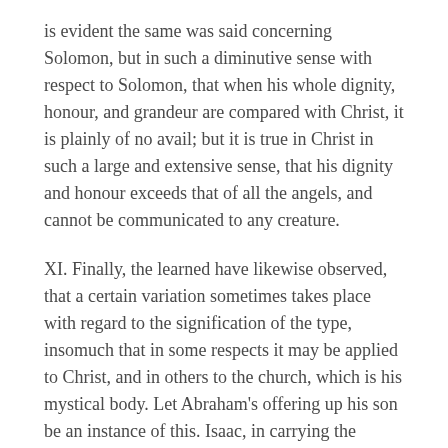is evident the same was said concerning Solomon, but in such a diminutive sense with respect to Solomon, that when his whole dignity, honour, and grandeur are compared with Christ, it is plainly of no avail; but it is true in Christ in such a large and extensive sense, that his dignity and honour exceeds that of all the angels, and cannot be communicated to any creature.
XI. Finally, the learned have likewise observed, that a certain variation sometimes takes place with regard to the signification of the type, insomuch that in some respects it may be applied to Christ, and in others to the church, which is his mystical body. Let Abraham's offering up his son be an instance of this. Isaac, in carrying the wood, in being bound by his father, and ready to suffer death in obedience to his farther and to God, was a type of Christ, in his carrying his cross, being bound, and in obeying his Father even unto death. But when the ram was offered in the room of